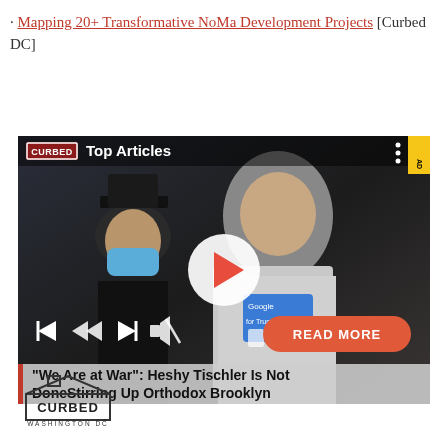· Mapping 20+ Transformative NoMa Development Projects [Curbed DC]
[Figure (screenshot): Curbed video player thumbnail showing 'Top Articles' with a photo of a man in a white jacket with a blue badge reading 'Google' and 'for Trump', next to a child in a black hat and blue mask. A white play button circle is in the center. Media controls at bottom left. A red 'READ MORE' pill button at bottom right. A semi-transparent caption bar at the bottom reads: "We Are at War": Heshy Tischler Is Not DoneStirring Up Orthodox Brooklyn]
[Figure (logo): Curbed Washington DC logo — house-shaped outline enclosing the word CURBED, with WASHINGTON DC below]